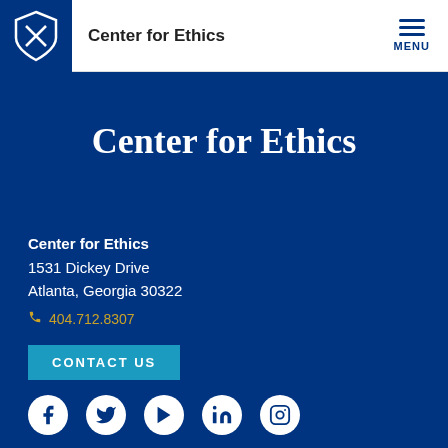Center for Ethics
Center for Ethics
Center for Ethics
1531 Dickey Drive
Atlanta, Georgia 30322
404.712.8307
CONTACT US
[Figure (logo): Social media icons: Facebook, Twitter, YouTube, LinkedIn, Instagram]